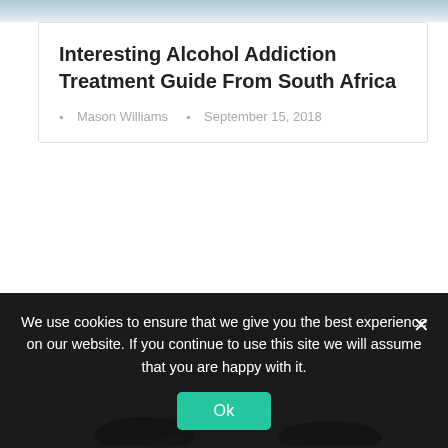[Figure (photo): Top portion of a header image, partially cropped, showing a blurred medical/lifestyle scene]
Interesting Alcohol Addiction Treatment Guide From South Africa
Mason Williams   September 15, 2018
[Figure (photo): Photo of garlic bulb and black garlic cloves on a white background]
We use cookies to ensure that we give you the best experience on our website. If you continue to use this site we will assume that you are happy with it.
Ok